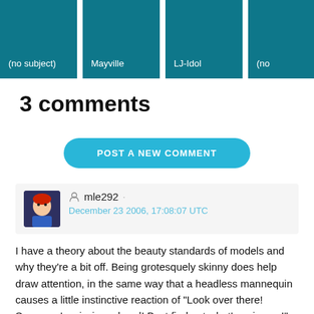[Figure (screenshot): Row of teal/dark-cyan blog post cards: '(no subject)', 'Mayville', 'LJ-Idol', '(no' (partially visible)]
3 comments
POST A NEW COMMENT
mle292  ·  December 23 2006, 17:08:07 UTC
I have a theory about the beauty standards of models and why they're a bit off. Being grotesquely skinny does help draw attention, in the same way that a headless mannequin causes a little instinctive reaction of "Look over there! Someone's missing a head! Best find out what's going on!"